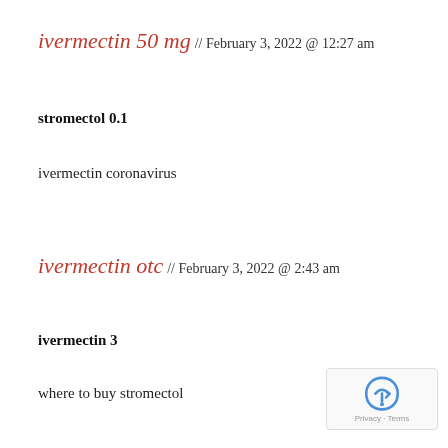ivermectin 50 mg // February 3, 2022 @ 12:27 am
stromectol 0.1
ivermectin coronavirus
ivermectin otc // February 3, 2022 @ 2:43 am
ivermectin 3
where to buy stromectol
[Figure (logo): reCAPTCHA badge with Privacy and Terms text]